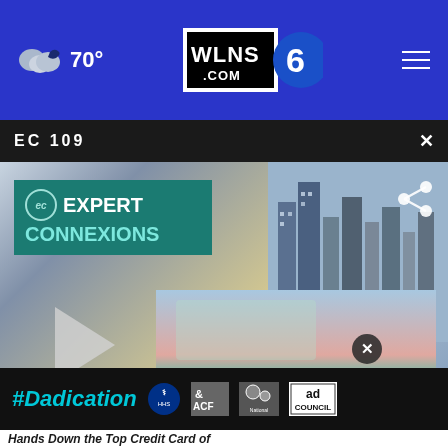70° WLNS6.com ☰
EC 109 ×
[Figure (screenshot): Video thumbnail of Julie Holton, Host and Executive Producer of Expert Connexions, with Expert Connexions logo sign visible on left and city skyline in background. Play button visible. Share icon in upper right.]
[Figure (screenshot): Ad video thumbnail showing a person gesturing with a close (×) button overlay]
[Figure (infographic): #Dadication advertisement banner with HHS, ACF, National Responsible Fatherhood Clearinghouse, and Ad Council logos]
Hands Down the Top Credit Card of